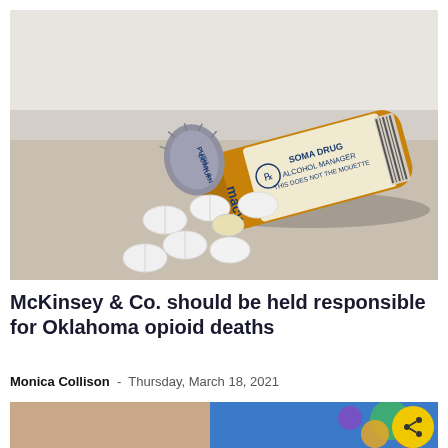[Figure (photo): Prescription pill bottle tipped on its side with white tablets spilling out onto a surface; amber orange bottle with pharmacy label and child-proof cap visible]
McKinsey & Co. should be held responsible for Oklahoma opioid deaths
Monica Collison  -  Thursday, March 18, 2021
[Figure (photo): Bottom partial photo showing a colorful logo display and a person near an American flag, partially cut off]